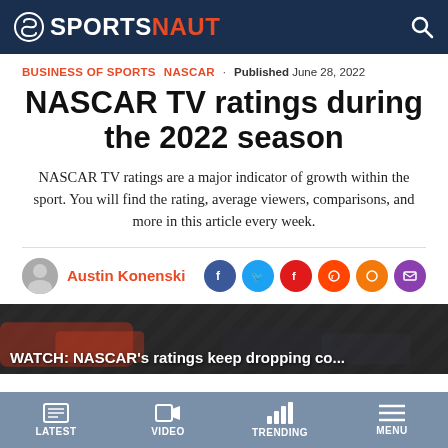SPORTSNAUT
BUSINESS OF SPORTS  NASCAR · Published June 28, 2022
NASCAR TV ratings during the 2022 season
NASCAR TV ratings are a major indicator of growth within the sport. You will find the rating, average viewers, comparisons, and more in this article every week.
Austin Konenski
[Figure (screenshot): Video thumbnail showing NASCAR cars with overlay text: WATCH: NASCAR's ratings keep dropping co...]
LATEST  VIDEO  TRENDING  MENU